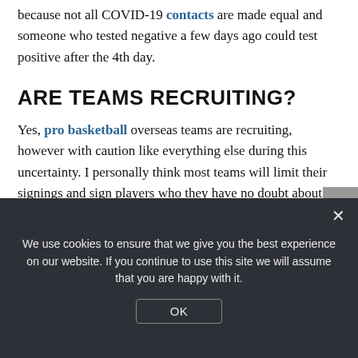because not all COVID-19 contacts are made equal and someone who tested negative a few days ago could test positive after the 4th day.
ARE TEAMS RECRUITING?
Yes, pro basketball overseas teams are recruiting, however with caution like everything else during this uncertainty. I personally think most teams will limit their signings and sign players who they have no doubt about their potential. Teams who could see a "maybe" player will definitely think twice and because many basketball leagues depend on government funding and sponsors, it will hard due to the economy as it is today.
We use cookies to ensure that we give you the best experience on our website. If you continue to use this site we will assume that you are happy with it.